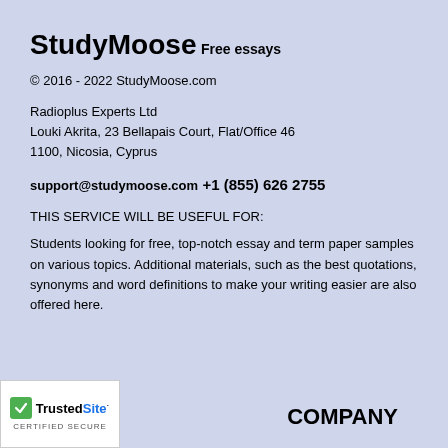StudyMoose
Free essays
© 2016 - 2022 StudyMoose.com
Radioplus Experts Ltd
Louki Akrita, 23 Bellapais Court, Flat/Office 46
1100, Nicosia, Cyprus
support@studymoose.com
+1 (855) 626 2755
THIS SERVICE WILL BE USEFUL FOR:
Students looking for free, top-notch essay and term paper samples on various topics. Additional materials, such as the best quotations, synonyms and word definitions to make your writing easier are also offered here.
[Figure (logo): TrustedSite Certified Secure badge with green checkmark]
COMPANY